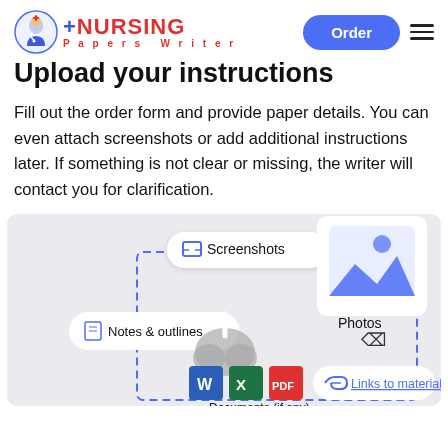NURSING Papers Writer — Order
Upload your instructions
Fill out the order form and provide paper details. You can even attach screenshots or add additional instructions later. If something is not clear or missing, the writer will contact you for clarification.
[Figure (illustration): Illustration showing file upload options: Screenshots, Photos, Notes & outlines, Documents (if any) with Word/Excel/PDF icons, Links to materials, and a cloud upload icon in the center, all within a dashed blue border box on a light grey background.]